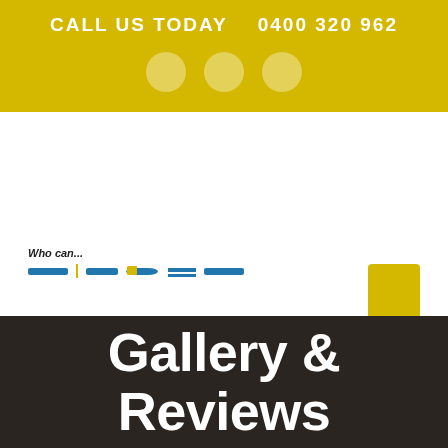CALL US TODAY  0400 320 962
[Figure (illustration): Yellow header banner with decorative semi-transparent circles and navigation bar area with 'Who can...' text and blue navigation elements, plus a yellow rectangle on the right]
Gallery & Reviews